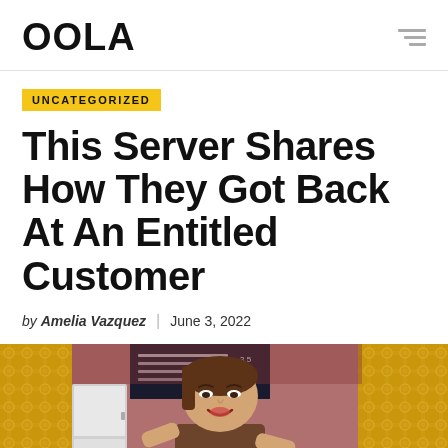OOLA
UNCATEGORIZED
This Server Shares How They Got Back At An Entitled Customer
by Amelia Vazquez | June 3, 2022
[Figure (photo): A server in a restaurant with an annoyed or expressive face, ornate golden tiled walls in the background, a dark menu board visible behind them.]